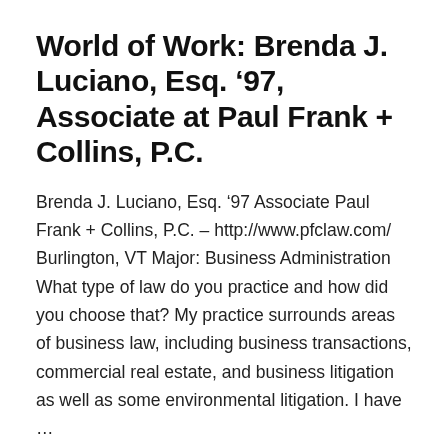World of Work: Brenda J. Luciano, Esq. ’97, Associate at Paul Frank + Collins, P.C.
Brenda J. Luciano, Esq. ’97 Associate Paul Frank + Collins, P.C. – http://www.pfclaw.com/ Burlington, VT Major: Business Administration What type of law do you practice and how did you choose that? My practice surrounds areas of business law, including business transactions, commercial real estate, and business litigation as well as some environmental litigation. I have …
Continue reading